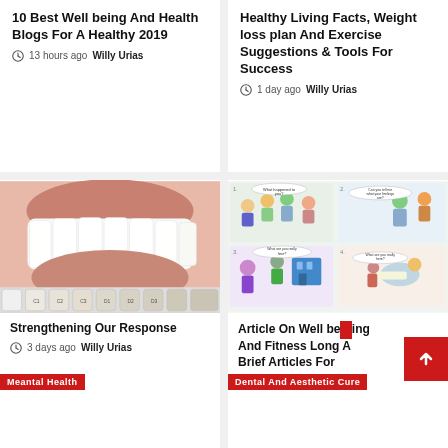10 Best Well being And Health Blogs For A Healthy 2019
13 hours ago  Willy Urias
Healthy Living Facts, Weight loss plan And Exercise Suggestions & Tools For Success
1 day ago  Willy Urias
[Figure (photo): Close-up photo of a bright white smile showing teeth, with dental shade guide samples at the bottom. A red label reads 'Meantal Health'.]
Strengthening Our Response
3 days ago  Willy Urias
[Figure (illustration): Colorful cartoon/comic-style illustration showing various healthcare scenarios with speech bubbles. A red label reads 'Dental And Aesthetic Cure'.]
Article On Well being And Fitness Long And Brief Articles For